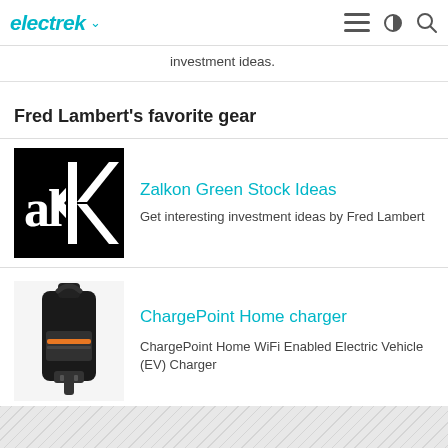electrek
investment ideas.
Fred Lambert's favorite gear
[Figure (logo): Zalkon logo — black square with stylized letters alK in white/black]
Zalkon Green Stock Ideas
Get interesting investment ideas by Fred Lambert
[Figure (photo): ChargePoint Home EV charger — black device with colored branding label]
ChargePoint Home charger
ChargePoint Home WiFi Enabled Electric Vehicle (EV) Charger